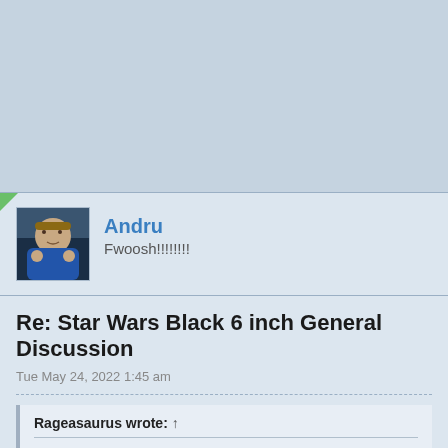[Figure (screenshot): Top background area in light blue-gray color]
Andru
Fwoosh!!!!!!!!
Re: Star Wars Black 6 inch General Discussion
Tue May 24, 2022 1:45 am
Rageasaurus wrote: ↑
For anyone looking to get Ahsoka robes, I got mine from Scottacus Customs. It looks fantastic and screen accurate.